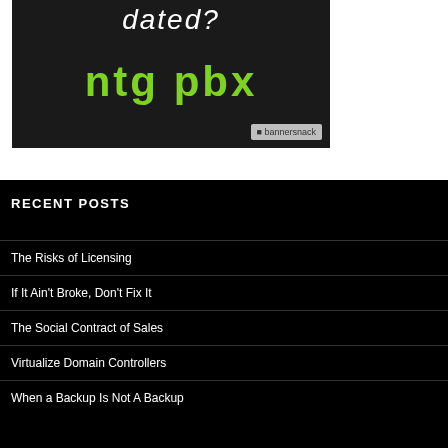[Figure (advertisement): Dark background advertisement banner showing 'dated?' in white italic text and 'ntg pbx' in green bold text, with a bannersnack watermark, and a phone cord visible in the background.]
RECENT POSTS
The Risks of Licensing
If It Ain't Broke, Don't Fix It
The Social Contract of Sales
Virtualize Domain Controllers
When a Backup Is Not A Backup